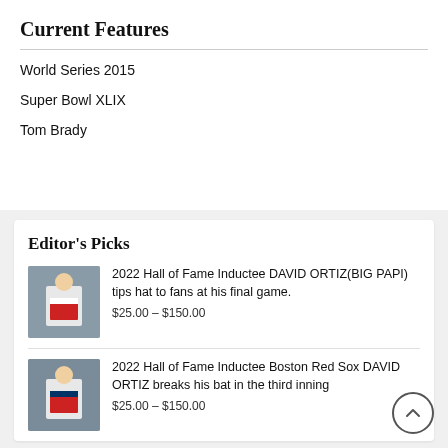Current Features
World Series 2015
Super Bowl XLIX
Tom Brady
Editor's Picks
2022 Hall of Fame Inductee DAVID ORTIZ(BIG PAPI) tips hat to fans at his final game.
$25.00 – $150.00
2022 Hall of Fame Inductee Boston Red Sox DAVID ORTIZ breaks his bat in the third inning
$25.00 – $150.00